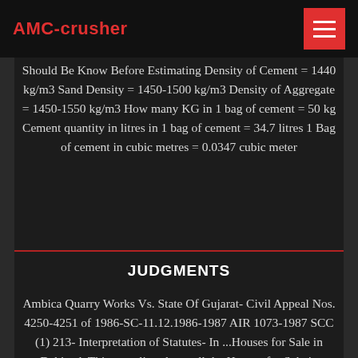AMC-crusher
Should Be Know Before Estimating Density of Cement = 1440 kg/m3 Sand Density = 1450-1500 kg/m3 Density of Aggregate = 1450-1550 kg/m3 How many KG in 1 bag of cement = 50 kg Cement quantity in litres in 1 bag of cement = 34.7 litres 1 Bag of cement in cubic metres = 0.0347 cubic meter
JUDGMENTS
Ambica Quarry Works Vs. State Of Gujarat- Civil Appeal Nos. 4250-4251 of 1986-SC-11.12.1986-1987 AIR 1073-1987 SCC (1) 213- Interpretation of Statutes- In ...Houses for Sale in DehiwalaThis page lists down all the Houses for Sale in Dehiwala, Dehiwala is a Suburb of Colombo City and is a fast developing area in Colombo City. Dehiwala